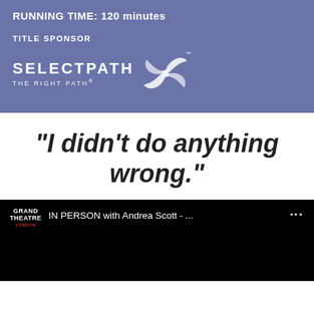RUNNING TIME: 120 minutes
TITLE SPONSOR
[Figure (logo): SelectPath - The Right Path logo with pinwheel graphic on blue background]
"I didn't do anything wrong."
[Figure (screenshot): YouTube video thumbnail with Grand Theatre logo and title: IN PERSON with Andrea Scott - ...]